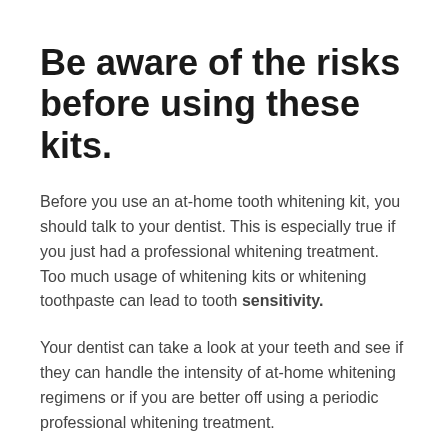Be aware of the risks before using these kits.
Before you use an at-home tooth whitening kit, you should talk to your dentist. This is especially true if you just had a professional whitening treatment. Too much usage of whitening kits or whitening toothpaste can lead to tooth sensitivity.
Your dentist can take a look at your teeth and see if they can handle the intensity of at-home whitening regimens or if you are better off using a periodic professional whitening treatment.
Before bleaching your teeth you should also see the dentist to make sure your teeth are free of cavities or decay. Bleaching, whether it is done professionally or at home, should only be